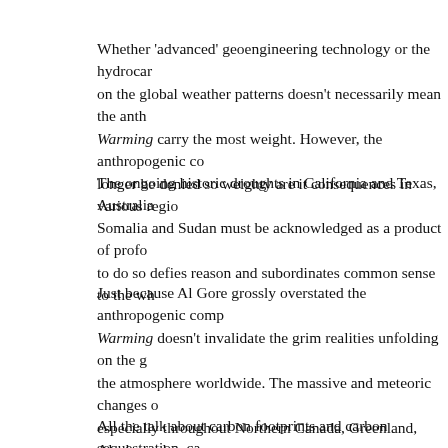Whether 'advanced' geoengineering technology or the hydrocar on the global weather patterns doesn't necessarily mean the anth Warming carry the most weight. However, the anthropogenic co longer be denied so weighty are it consequences in various regio
The ongoing historic droughts in California and Texas, Australia Somalia and Sudan must be acknowledged as a product of profo to do so defies reason and subordinates common sense to the wh
Just because Al Gore grossly overstated the anthropogenic comp Warming doesn't invalidate the grim realities unfolding on the g the atmosphere worldwide. The massive and meteoric changes o especially throughout Northern Canada, Greenland, Alaska and permafrost and ice cap melt are proceeding at breakneck speed. day as humongous icebergs are appearing where they were neve
All the talk about carbon footprints and carbon sequestration, ca exchanges should not deter one from really taking a closer look